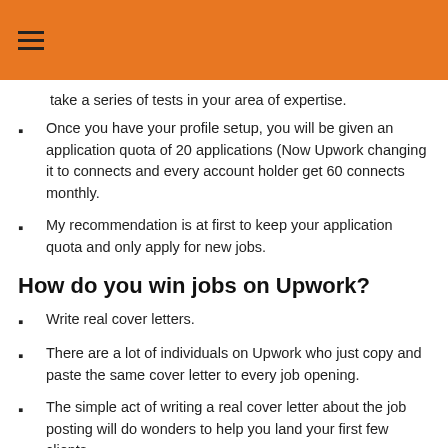take a series of tests in your area of expertise.
Once you have your profile setup, you will be given an application quota of 20 applications (Now Upwork changing it to connects and every account holder get 60 connects monthly.
My recommendation is at first to keep your application quota and only apply for new jobs.
How do you win jobs on Upwork?
Write real cover letters.
There are a lot of individuals on Upwork who just copy and paste the same cover letter to every job opening.
The simple act of writing a real cover letter about the job posting will do wonders to help you land your first few clients.